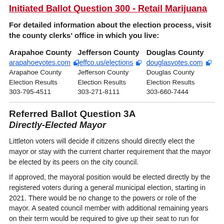Initiated Ballot Question 300 - Retail Marijuana
For detailed information about the election process, visit the county clerks' office in which you live:
Arapahoe County
arapahoevotes.com
Arapahoe County Election Results
303-795-4511

Jefferson County
jeffco.us/elections
Jefferson County Election Results
303-271-8111

Douglas County
douglasvotes.com
Douglas County Election Results
303-660-7444
Referred Ballot Question 3A
Directly-Elected Mayor
Littleton voters will decide if citizens should directly elect the mayor or stay with the current charter requirement that the mayor be elected by its peers on the city council.
If approved, the mayoral position would be elected directly by the registered voters during a general municipal election, starting in 2021. There would be no change to the powers or role of the mayor. A seated council member with additional remaining years on their term would be required to give up their seat to run for mayor. Any seated council member who runs for mayor must notify the city clerk by July 1 of that